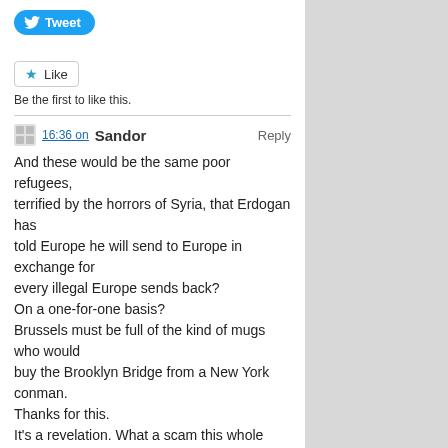[Figure (logo): Twitter Tweet button with bird icon]
[Figure (other): Like button with star icon]
Be the first to like this.
16:36 on Sandor  Reply
And these would be the same poor refugees, terrified by the horrors of Syria, that Erdogan has told Europe he will send to Europe in exchange for every illegal Europe sends back?
On a one-for-one basis?
Brussels must be full of the kind of mugs who would buy the Brooklyn Bridge from a New York conman.
Thanks for this.
It's a revelation. What a scam this whole 'refugee' racket is.
[Figure (other): Like button with star icon]
07:04 on Pamela  Reply
Talk about brass neck. This is stunning!